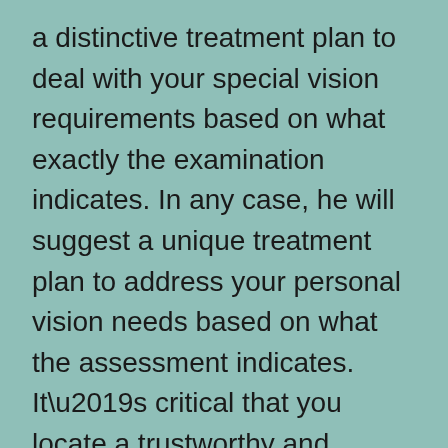a distinctive treatment plan to deal with your special vision requirements based on what exactly the examination indicates. In any case, he will suggest a unique treatment plan to address your personal vision needs based on what the assessment indicates. It’s critical that you locate a trustworthy and extremely skilled surgeon in Plymouth, MA. It’s crucial that you find a dependable and extremely skilled surgeon in Tulsa, OK.
It’s particularly important to what you wish to accomplish, that you locate a skilled and trusted lasik eye surgery clinic with doctors